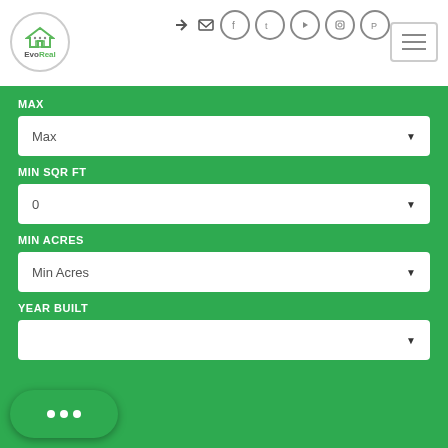[Figure (logo): EvoReal logo in a circle with a house icon]
[Figure (infographic): Top navigation icons: sign-in arrow, envelope, Facebook circle, Twitter circle, YouTube circle, Instagram circle, Pinterest circle]
[Figure (other): Hamburger menu button with three horizontal lines in a bordered box]
MAX
Max
MIN SQR FT
0
MIN ACRES
Min Acres
YEAR BUILT
[Figure (other): Chat bubble with three dots indicating a chat widget]